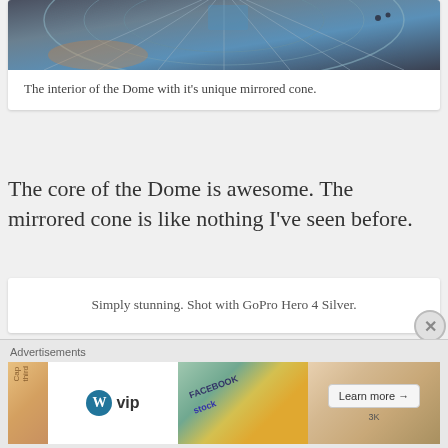[Figure (photo): Interior view of the Dome showing its unique mirrored cone structure, glass panels and steel framework visible from above]
The interior of the Dome with it's unique mirrored cone.
The core of the Dome is awesome. The mirrored cone is like nothing I've seen before.
Simply stunning. Shot with GoPro Hero 4 Silver.
[Figure (photo): Exterior photo of the Dome against a blue sky with clouds]
Advertisements